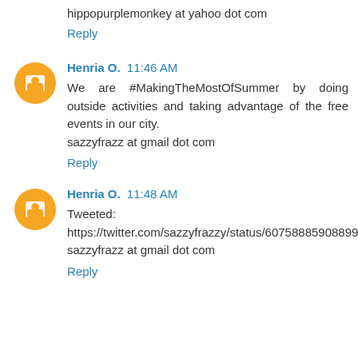hippopurplemonkey at yahoo dot com
Reply
Henria O.  11:46 AM
We are #MakingTheMostOfSummer by doing outside activities and taking advantage of the free events in our city.
sazzyfrazz at gmail dot com
Reply
Henria O.  11:48 AM
Tweeted:
https://twitter.com/sazzyfrazzy/status/607588590889992193
sazzyfrazz at gmail dot com
Reply